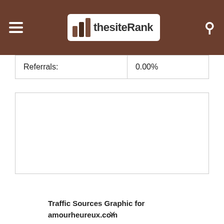thesiteRank
| Referrals: | 0.00% |
Traffic Sources Graphic for amourheureux.com